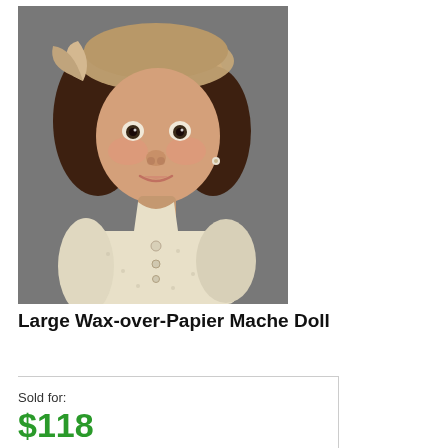[Figure (photo): Close-up photograph of a large wax-over-papier mache antique doll wearing a pink/gold bonnet hat and cream floral dress, with brown curly hair and dark glass eyes, against a gray background.]
Large Wax-over-Papier Mache Doll
Sold for: $118